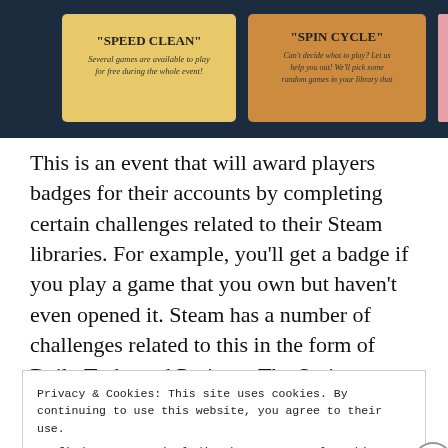[Figure (screenshot): Dark navy banner showing Steam game cards: 'SPEED CLEAN' on a yellow card ('Several games are available to play for free during the whole event!'), 'SPIN CYCLE' on an orange card ('Can't decide what to play? Let us help you out! We'll pick some random games in your library that'), and a partial pink card ('Own a g...')]
This is an event that will award players badges for their accounts by completing certain challenges related to their Steam libraries. For example, you'll get a badge if you play a game that you own but haven't even opened it. Steam has a number of challenges related to this in the form of Daily Tasks and Projects. The Spring Cleaning event began today, May 24, and it will run through May 28. – Jeff Grubb, VentureBeat https://ift.tt/2IOmwaw
Privacy & Cookies: This site uses cookies. By continuing to use this website, you agree to their use.
To find out more, including how to control cookies, see here: Our Cookie Policy